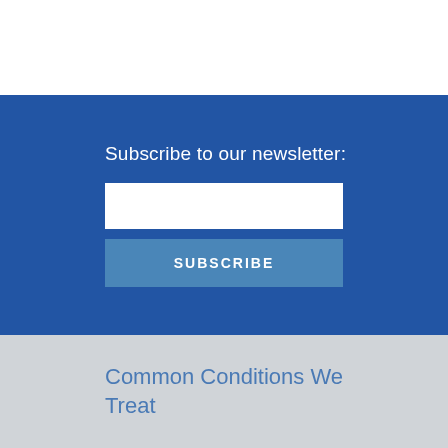Subscribe to our newsletter:
[Figure (other): Email input text field (white rectangle) for newsletter subscription]
SUBSCRIBE
Common Conditions We Treat